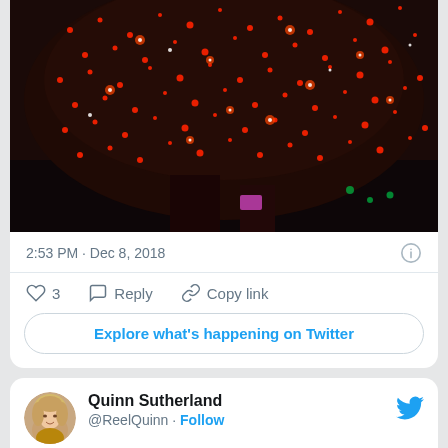[Figure (photo): Christmas tree with bright red and white lights at night, cropped top portion]
2:53 PM · Dec 8, 2018
3  Reply  Copy link
Explore what's happening on Twitter
Quinn Sutherland @ReelQuinn · Follow
I coughed up this blood clot
[Figure (photo): Red licorice candy twists piled together on white background, resembling blood clots]